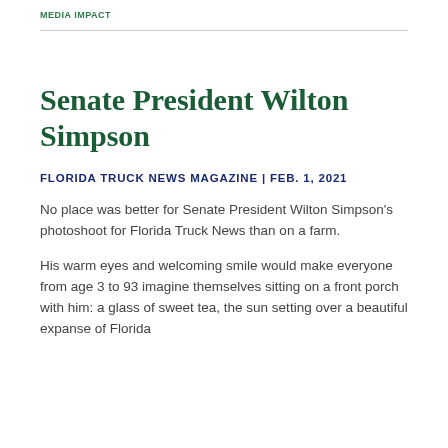MEDIA IMPACT
Senate President Wilton Simpson
FLORIDA TRUCK NEWS MAGAZINE | FEB. 1, 2021
No place was better for Senate President Wilton Simpson's photoshoot for Florida Truck News than on a farm.
His warm eyes and welcoming smile would make everyone from age 3 to 93 imagine themselves sitting on a front porch with him: a glass of sweet tea, the sun setting over a beautiful expanse of Florida